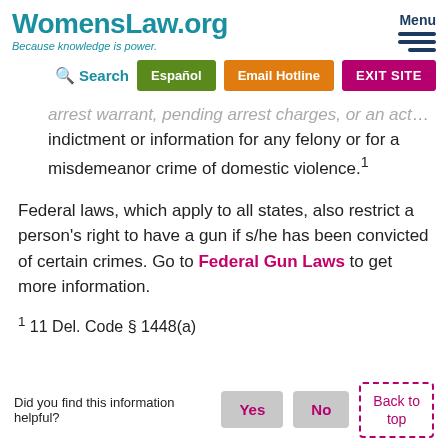WomensLaw.org — Because knowledge is power. | Menu | Search | Español | Email Hotline | EXIT SITE
indictment or information for any felony or for a misdemeanor crime of domestic violence.¹
Federal laws, which apply to all states, also restrict a person's right to have a gun if s/he has been convicted of certain crimes. Go to Federal Gun Laws to get more information.
¹ 11 Del. Code § 1448(a)
Did you find this information helpful? Yes No Back to top